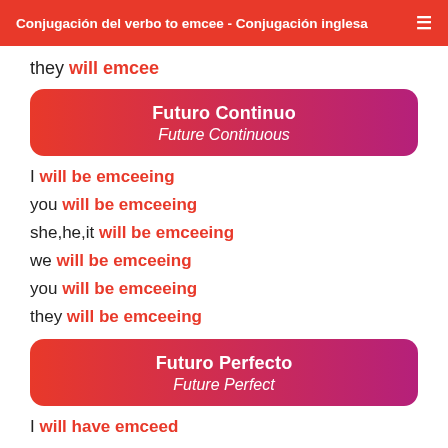Conjugación del verbo to emcee - Conjugación inglesa
they will emcee
Futuro Continuo
Future Continuous
I will be emceeing
you will be emceeing
she,he,it will be emceeing
we will be emceeing
you will be emceeing
they will be emceeing
Futuro Perfecto
Future Perfect
I will have emceed
you will have emceed
she,he,it will have emceed
we will have emceed